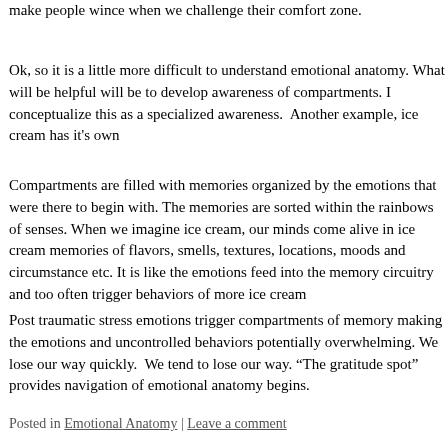make people wince when we challenge their comfort zone.
Ok, so it is a little more difficult to understand emotional anatomy. What will be helpful will be to develop awareness of compartments. I conceptualize this as a specialized awareness.  Another example, ice cream has it's own
Compartments are filled with memories organized by the emotions that were there to begin with. The memories are sorted within the rainbows of senses. When we imagine ice cream, our minds come alive in ice cream memories of flavors, smells, textures, locations, moods and circumstance etc. It is like the emotions feed into the memory circuitry and too often trigger behaviors of more ice cream
Post traumatic stress emotions trigger compartments of memory making the emotions and uncontrolled behaviors potentially overwhelming. We lose our way quickly.  We tend to lose our way. "The gratitude spot" provides navigation of emotional anatomy begins.
Posted in Emotional Anatomy | Leave a comment